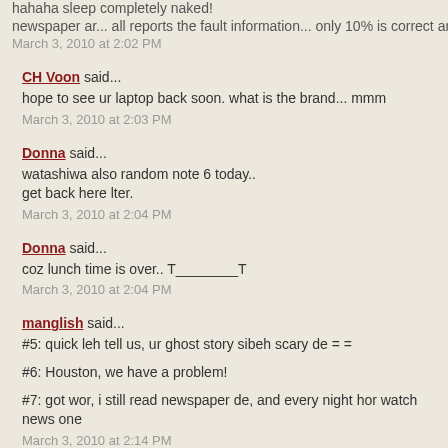hahaha sleep completely naked!
newspaper ar... all reports the fault information... only 10% is correct and the
March 3, 2010 at 2:02 PM
CH Voon said...
hope to see ur laptop back soon. what is the brand... mmm
March 3, 2010 at 2:03 PM
Donna said...
watashiwa also random note 6 today..
get back here lter.
March 3, 2010 at 2:04 PM
Donna said...
coz lunch time is over.. T________T
March 3, 2010 at 2:04 PM
manglish said...
#5: quick leh tell us, ur ghost story sibeh scary de = =
#6: Houston, we have a problem!
#7: got wor, i still read newspaper de, and every night hor watch news one
March 3, 2010 at 2:14 PM